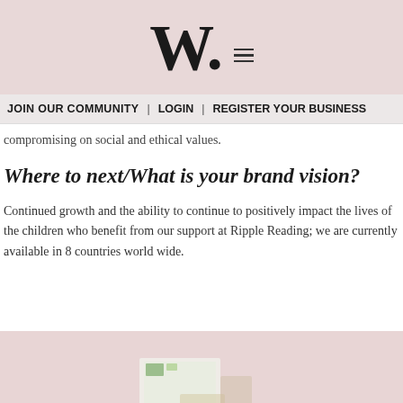W. ≡
JOIN OUR COMMUNITY | LOGIN | REGISTER YOUR BUSINESS
compromising on social and ethical values.
Where to next/What is your brand vision?
Continued growth and the ability to continue to positively impact the lives of the children who benefit from our support at Ripple Reading; we are currently available in 8 countries world wide.
[Figure (photo): Pink background with a product/book on a dusty rose surface, partially visible at the bottom of the page.]